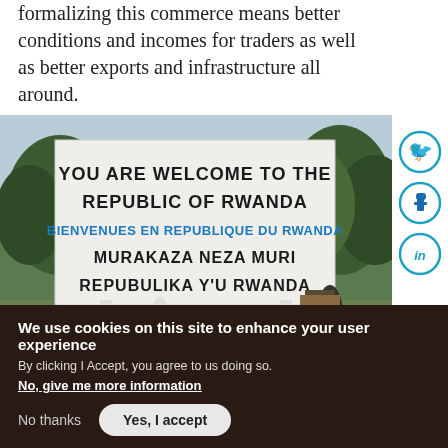formalizing this commerce means better conditions and incomes for traders as well as better exports and infrastructure all around.
[Figure (photo): A welcome sign at the border of Rwanda reading: YOU ARE WELCOME TO THE REPUBLIC OF RWANDA / BIENVENUES EN REPUBLIQUE DU RWANDA / MURAKAZA NEZA MURI REPUBULIKA Y'U RWANDA. People and trees visible in the background.]
We use cookies on this site to enhance your user experience
By clicking I Accept, you agree to us doing so.
No, give me more information
No thanks
Yes, I accept